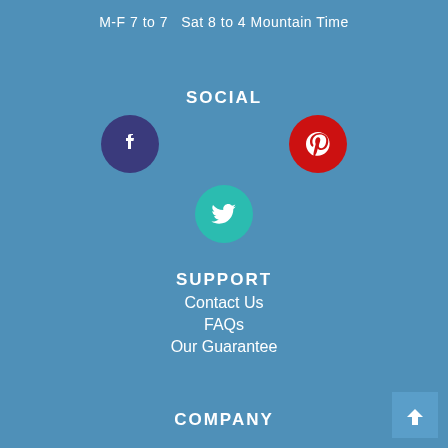M-F  7 to 7   Sat 8 to 4  Mountain Time
SOCIAL
[Figure (illustration): Three social media icons: Facebook (dark blue circle with white F), Pinterest (red circle with white P), and Twitter (cyan circle with white bird)]
SUPPORT
Contact Us
FAQs
Our Guarantee
COMPANY